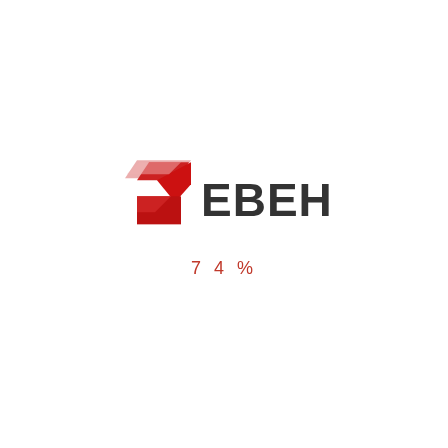[Figure (logo): ЗЕВЕН company logo: a stylized Z shape in red and light pink/red tones on the left, followed by the text ЕВЕН in dark gray bold letters]
74%